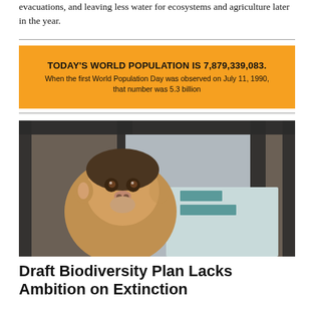evacuations, and leaving less water for ecosystems and agriculture later in the year.
[Figure (infographic): Orange infographic banner stating: TODAY'S WORLD POPULATION IS 7,879,339,083. When the first World Population Day was observed on July 11, 1990, that number was 5.3 billion]
[Figure (photo): Close-up photo of a small monkey (juvenile) inside a wire cage, looking directly at the camera, with fabric visible in the background.]
Draft Biodiversity Plan Lacks Ambition on Extinction